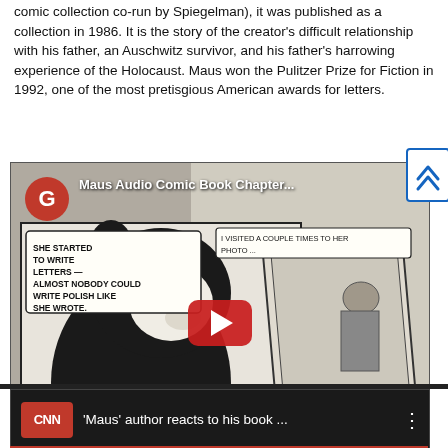comic collection co-run by Spiegelman), it was published as a collection in 1986. It is the story of the creator's difficult relationship with his father, an Auschwitz survivor, and his father's harrowing experience of the Holocaust. Maus won the Pulitzer Prize for Fiction in 1992, one of the most pretisgious American awards for letters.
[Figure (screenshot): YouTube-style embedded video thumbnail showing a page from the Maus comic book with anthropomorphic mouse characters. A Google 'G' icon appears in the top left and the title 'Maus Audio Comic Book Chapter...' is shown. A red YouTube play button is centered. A scroll-up navigation button with blue chevrons is on the right edge.]
[Figure (screenshot): CNN video thumbnail strip showing 'Maus' author reacts to his book ... with CNN logo on left and three-dot menu on right, on dark background.]